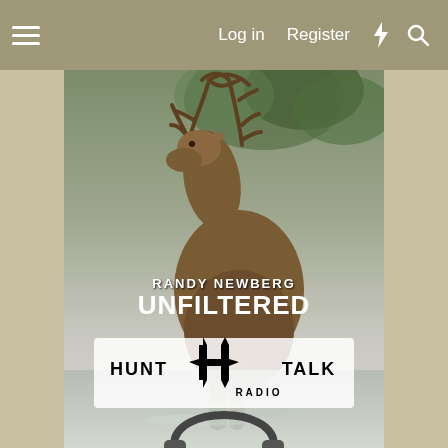Menu | Log in | Register
[Figure (photo): Website screenshot showing a navigation bar with menu icon, Log in and Register links, and icon buttons. Below is a centered panel featuring a photo of an elk (bull with large antlers) in a misty outdoor setting. Text overlay reads 'RANDY NEWBERG UNFILTERED'. Below the elk photo is the Hunt Talk Radio logo with headphones at the bottom.]